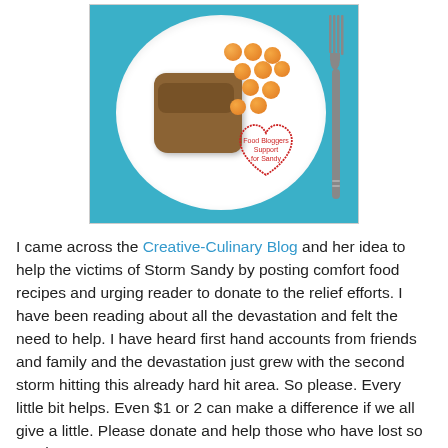[Figure (photo): A white plate on a blue background with bread pudding on the left side, cantaloupe melon balls on the upper right, and a heart drawn in red with text 'Food Bloggers Support for Sandy' written inside. A silver fork is placed to the right of the plate.]
I came across the Creative-Culinary Blog and her idea to help the victims of Storm Sandy by posting comfort food recipes and urging reader to donate to the relief efforts. I have been reading about all the devastation and felt the need to help. I have heard first hand accounts from friends and family and the devastation just grew with the second storm hitting this already hard hit area. So please. Every little bit helps. Even $1 or 2 can make a difference if we all give a little. Please donate and help those who have lost so much!